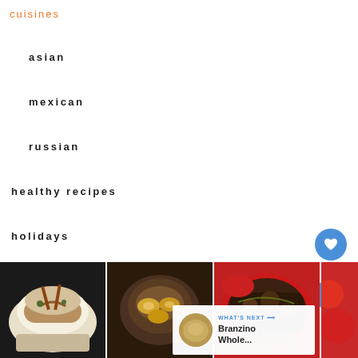cuisines
asian
mexican
russian
healthy recipes
holidays
recipes
[Figure (photo): Four food photos in a row at the bottom: a rice bowl with meat and chopsticks, dumplings in a dark wooden steamer, a stew with herbs in a red bowl, and a partial fourth image. A 'WHAT'S NEXT' overlay shows a thumbnail and 'Branzino Whole...' text. A blue heart button with count '1' and a share button appear on the right side.]